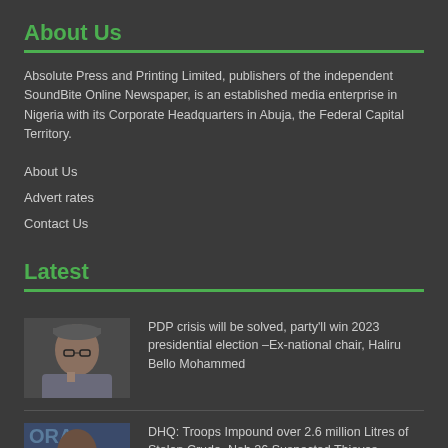About Us
Absolute Press and Printing Limited, publishers of the independent SoundBite Online Newspaper, is an established media enterprise in Nigeria with its Corporate Headquarters in Abuja, the Federal Capital Territory.
About Us
Advert rates
Contact Us
Latest
[Figure (photo): Portrait of a man in formal attire with a cap]
PDP crisis will be solved, party'll win 2023 presidential election –Ex-national chair, Haliru Bello Mohammed
[Figure (photo): Portrait of a man in military uniform]
DHQ: Troops Impound over 2.6 million Litres of Stolen Crude, Nab 26 Suspected Thieves